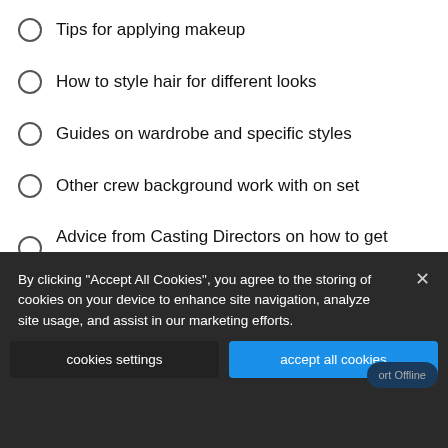Tips for applying makeup
How to style hair for different looks
Guides on wardrobe and specific styles
Other crew background work with on set
Advice from Casting Directors on how to get booked
By clicking “Accept All Cookies”, you agree to the storing of cookies on your device to enhance site navigation, analyze site usage, and assist in our marketing efforts.